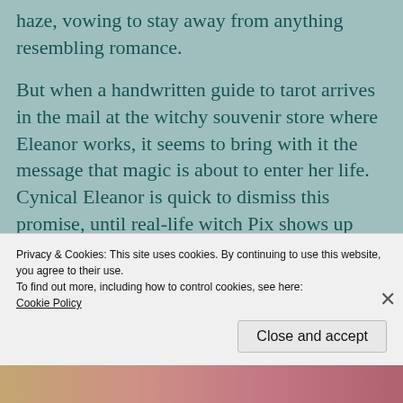haze, vowing to stay away from anything resembling romance.
But when a handwritten guide to tarot arrives in the mail at the witchy souvenir store where Eleanor works, it seems to bring with it the message that magic is about to enter her life. Cynical Eleanor is quick to dismiss this promise, until real-life witch Pix shows up with an unusual invitation. Inspired by the magic and mystery of the tarot, Eleanor decides to
Privacy & Cookies: This site uses cookies. By continuing to use this website, you agree to their use.
To find out more, including how to control cookies, see here:
Cookie Policy
Close and accept